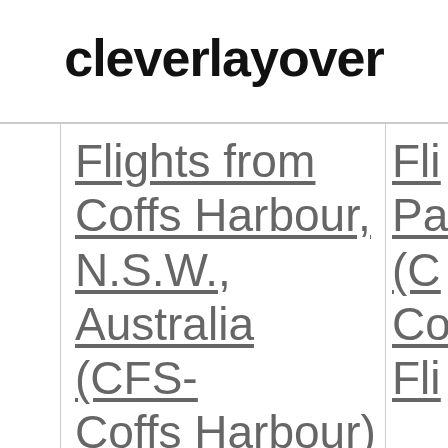cleverlayover
Flights from Coffs Harbour, N.S.W., Australia (CFS-Coffs Harbour)
Flights from
Fli Pa (C Clo Fli